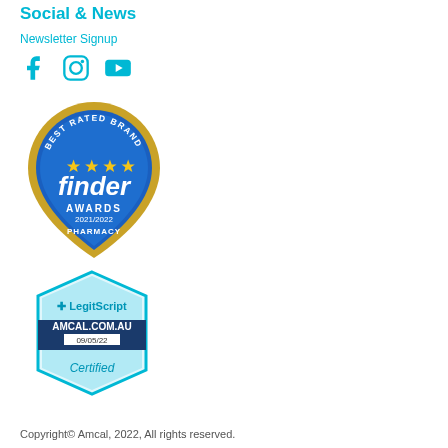Social & News
Newsletter Signup
[Figure (other): Social media icons: Facebook, Instagram, YouTube]
[Figure (other): Finder Awards 2021/2022 Best Rated Brand badge - Pharmacy category]
[Figure (other): LegitScript certified badge for AMCAL.COM.AU dated 09/05/22]
Copyright© Amcal, 2022, All rights reserved.